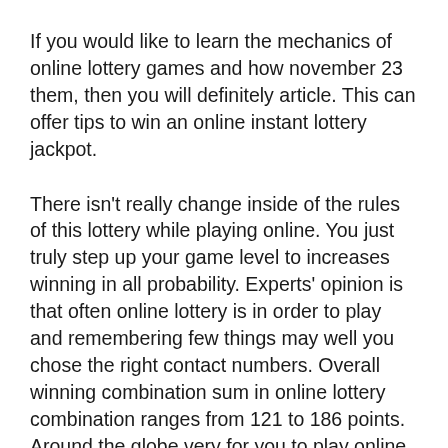If you would like to learn the mechanics of online lottery games and how november 23 them, then you will definitely article. This can offer tips to win an online instant lottery jackpot.
There isn't really change inside of the rules of this lottery while playing online. You just truly step up your game level to increases winning in all probability. Experts' opinion is that often online lottery is in order to play and remembering few things may well you chose the right contact numbers. Overall winning combination sum in online lottery combination ranges from 121 to 186 points. Around the globe very for you to play online lottery at home, or anywhere you like. All